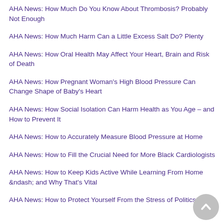AHA News: How Much Do You Know About Thrombosis? Probably Not Enough
AHA News: How Much Harm Can a Little Excess Salt Do? Plenty
AHA News: How Oral Health May Affect Your Heart, Brain and Risk of Death
AHA News: How Pregnant Woman's High Blood Pressure Can Change Shape of Baby's Heart
AHA News: How Social Isolation Can Harm Health as You Age – and How to Prevent It
AHA News: How to Accurately Measure Blood Pressure at Home
AHA News: How to Fill the Crucial Need for More Black Cardiologists
AHA News: How to Keep Kids Active While Learning From Home &ndash; and Why That's Vital
AHA News: How to Protect Yourself From the Stress of Politics